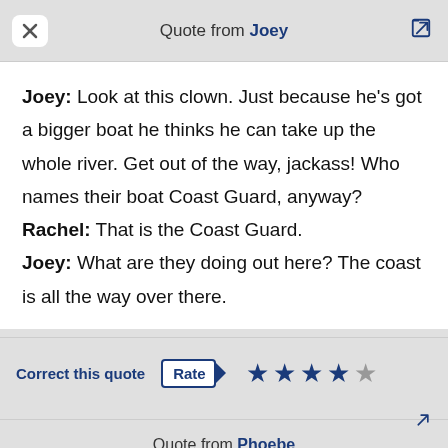Quote from Joey
Joey: Look at this clown. Just because he's got a bigger boat he thinks he can take up the whole river. Get out of the way, jackass! Who names their boat Coast Guard, anyway?
Rachel: That is the Coast Guard.
Joey: What are they doing out here? The coast is all the way over there.
Correct this quote  Rate ★★★★☆
Quote from Phoebe